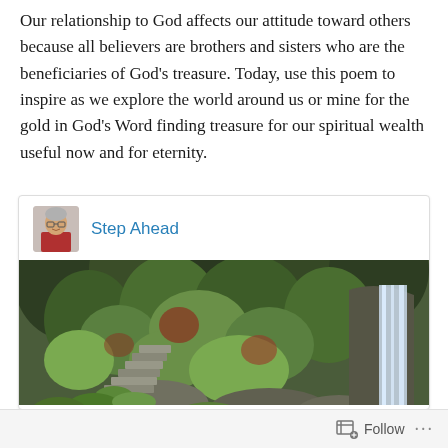Our relationship to God affects our attitude toward others because all believers are brothers and sisters who are the beneficiaries of God's treasure. Today, use this poem to inspire as we explore the world around us or mine for the gold in God's Word finding treasure for our spiritual wealth useful now and for eternity.
[Figure (other): A social media card from 'Step Ahead' showing a photo of a lush garden path with stone steps leading through green foliage, with a waterfall visible on the right side. The card has the user's avatar (older man in red shirt) and username in blue.]